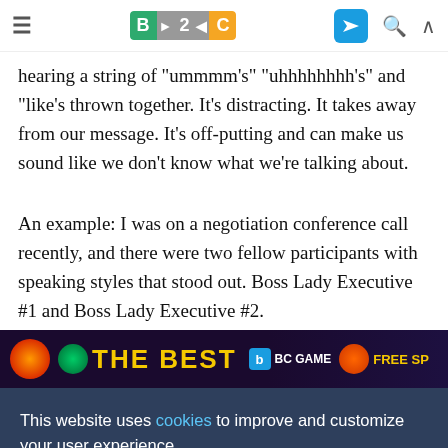B2C (logo) | navigation icons
hearing a string of 'ummmm's' 'uhhhhhhhh's' and 'like's thrown together. It's distracting. It takes away from our message. It's off-putting and can make us sound like we don't know what we're talking about.
An example: I was on a negotiation conference call recently, and there were two fellow participants with speaking styles that stood out. Boss Lady Executive #1 and Boss Lady Executive #2.
[Figure (screenshot): Advertisement banner for BC Game casino showing 'THE BEST' text in yellow on dark purple background with BC Game logo and FREE SPINS text]
This website uses cookies to improve and customize your user experience.
Reject | Accept (cookie consent buttons)
limited knowledge of the subject matter.